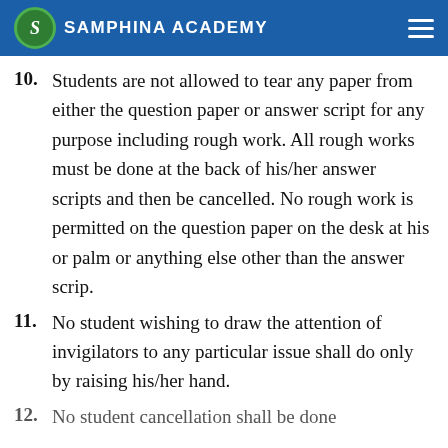SAMPHINA ACADEMY
10. Students are not allowed to tear any paper from either the question paper or answer script for any purpose including rough work. All rough works must be done at the back of his/her answer scripts and then be cancelled. No rough work is permitted on the question paper on the desk at his or palm or anything else other than the answer scrip.
11. No student wishing to draw the attention of invigilators to any particular issue shall do only by raising his/her hand.
12. No student cancellation shall be done...